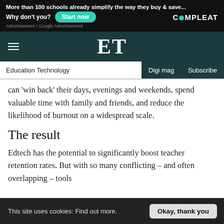[Figure (screenshot): Advertisement banner for COMPLEAT with text 'More than 100 schools already simplify the way they buy & save... Why don't you?' and a teal 'Start now' button]
ET
Education Technology | Digi mag | Subscribe
can 'win back' their days, evenings and weekends, spend valuable time with family and friends, and reduce the likelihood of burnout on a widespread scale.
The result
Edtech has the potential to significantly boost teacher retention rates. But with so many conflicting – and often overlapping – tools
This site uses cookies: Find out more.